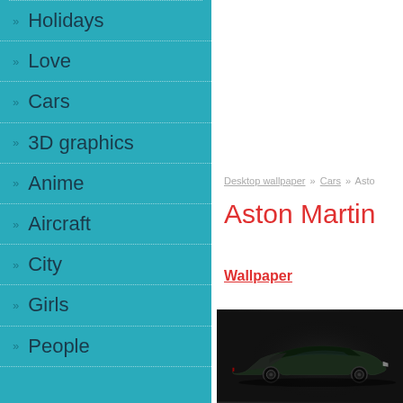Holidays
Love
Cars
3D graphics
Anime
Aircraft
City
Girls
People
Desktop wallpaper » Cars » Aston
Aston Martin
Wallpaper
[Figure (photo): Dark studio photo of an Aston Martin sports car, low angle, dark background]